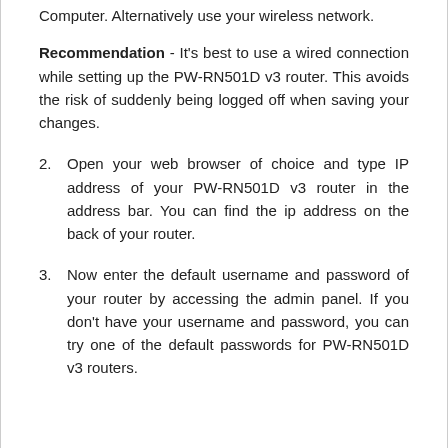Computer. Alternatively use your wireless network.
Recommendation - It's best to use a wired connection while setting up the PW-RN501D v3 router. This avoids the risk of suddenly being logged off when saving your changes.
2. Open your web browser of choice and type IP address of your PW-RN501D v3 router in the address bar. You can find the ip address on the back of your router.
3. Now enter the default username and password of your router by accessing the admin panel. If you don't have your username and password, you can try one of the default passwords for PW-RN501D v3 routers.